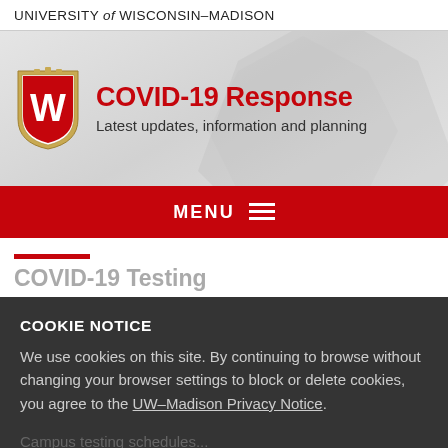UNIVERSITY of WISCONSIN–MADISON
[Figure (logo): UW–Madison COVID-19 Response header banner with UW shield logo, title 'COVID-19 Response' in red, subtitle 'Latest updates, information and planning']
COVID-19 Response
Latest updates, information and planning
MENU ≡
COVID-19 Testing
COOKIE NOTICE
We use cookies on this site. By continuing to browse without changing your browser settings to block or delete cookies, you agree to the UW–Madison Privacy Notice.
GOT IT!
Campus testing schedules... Both PCR and antigen testing continue to be offered at no cost to students, faculty and staff. See below for availability and location.